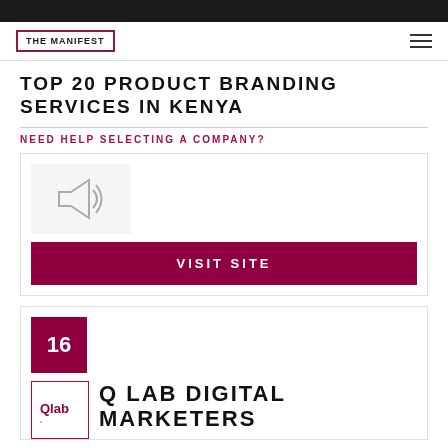THE MANIFEST
TOP 20 PRODUCT BRANDING SERVICES IN KENYA
NEED HELP SELECTING A COMPANY?
[Figure (illustration): Megaphone / bullhorn icon in grey outline style]
VISIT SITE
16
[Figure (logo): Qlab logo inside a square border]
Q LAB DIGITAL MARKETERS